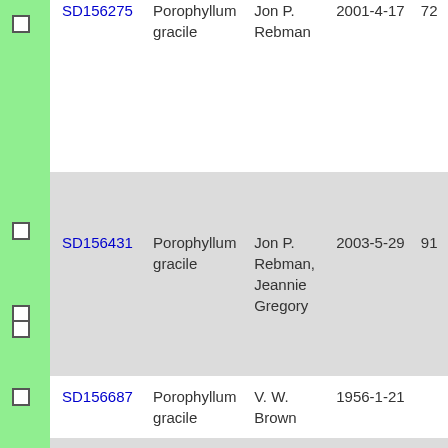|  | ID | Species | Collector | Date | Num |
| --- | --- | --- | --- | --- | --- |
|  | SD156275 | Porophyllum gracile | Jon P. Rebman | 2001-4-17 | 72 |
|  | SD156431 | Porophyllum gracile | Jon P. Rebman, Jeannie Gregory | 2003-5-29 | 91 |
|  | SD156687 | Porophyllum gracile | V. W. Brown | 1956-1-21 |  |
|  | SD157020 | Porophyllum gracile | Jeannie Gregory | 2004-4-17 | 76 |
|  | SD15757 | Porophyllum gracile | Frank F. Gander | 1936-5-21 | 23 |